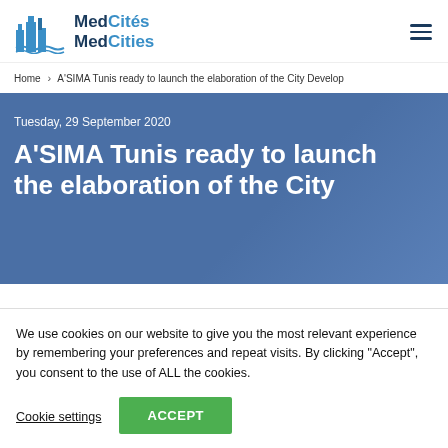MedCités MedCities [logo + hamburger menu]
Home › A'SIMA Tunis ready to launch the elaboration of the City Develop
Tuesday, 29 September 2020
A'SIMA Tunis ready to launch the elaboration of the City
We use cookies on our website to give you the most relevant experience by remembering your preferences and repeat visits. By clicking "Accept", you consent to the use of ALL the cookies.
Cookie settings   ACCEPT